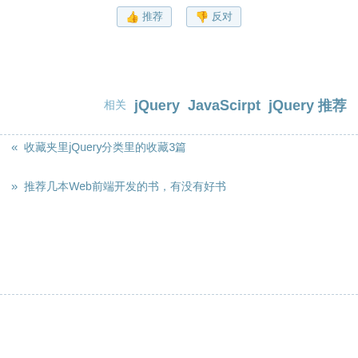[Figure (other): Two social action buttons: 推荐 (recommend/thumbs up) and 反对 (oppose/thumbs down)]
相关 jQuery   JavaScirpt   jQuery 推荐
« 收藏夹里jQuery分类里的收藏3篇
» 推荐几本Web前端开发的书，有没有好书